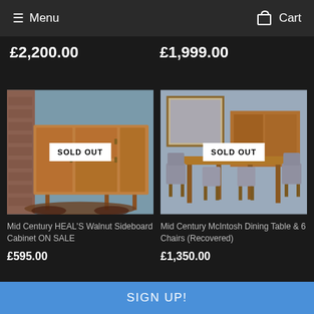Menu   Cart
£2,200.00
£1,999.00
[Figure (photo): Mid century walnut sideboard cabinet with sliding doors, shown with SOLD OUT badge overlay]
SOLD OUT
[Figure (photo): Mid century McIntosh dining table with 6 chairs (recovered), shown with SOLD OUT badge overlay]
SOLD OUT
Mid Century HEAL'S Walnut Sideboard Cabinet ON SALE
£595.00
Mid Century McIntosh Dining Table & 6 Chairs (Recovered)
£1,350.00
SIGN UP!